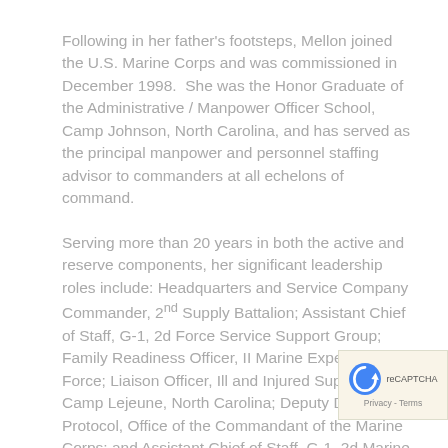Following in her father's footsteps, Mellon joined the U.S. Marine Corps and was commissioned in December 1998.  She was the Honor Graduate of the Administrative / Manpower Officer School, Camp Johnson, North Carolina, and has served as the principal manpower and personnel staffing advisor to commanders at all echelons of command.
Serving more than 20 years in both the active and reserve components, her significant leadership roles include: Headquarters and Service Company Commander, 2nd Supply Battalion; Assistant Chief of Staff, G-1, 2d Force Service Support Group; Family Readiness Officer, II Marine Expeditionary Force; Liaison Officer, Ill and Injured Support Unit, Camp Lejeune, North Carolina; Deputy Director for Protocol, Office of the Commandant of the Marine Corps; and Assistant Chief of Staff, G-1, 2d Marine...